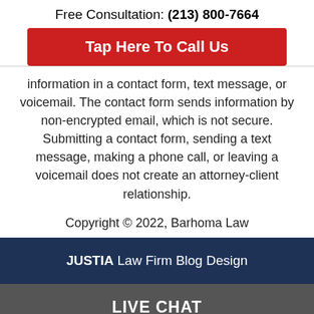Free Consultation: (213) 800-7664
Tap Here To Call Us
information in a contact form, text message, or voicemail. The contact form sends information by non-encrypted email, which is not secure. Submitting a contact form, sending a text message, making a phone call, or leaving a voicemail does not create an attorney-client relationship.
Copyright © 2022, Barhoma Law
JUSTIA Law Firm Blog Design
LIVE CHAT